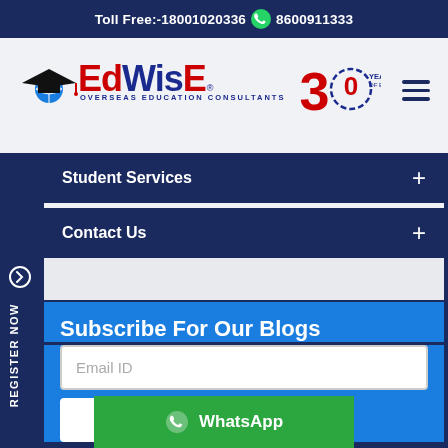Toll Free:-18001020336  8600911333
[Figure (logo): Edwise Overseas Education Consultants logo with graduation cap and 30 Years of Excellence badge]
Student Services +
Contact Us +
Subscribe For Our Blogs
Email ID
Submit
WhatsApp